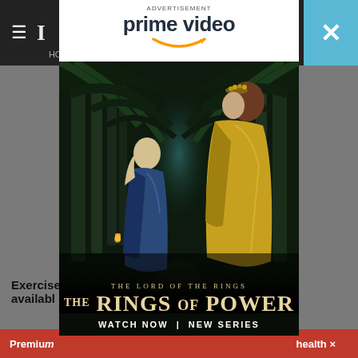[Figure (screenshot): Screenshot of a news website with an Amazon Prime Video advertisement overlay. The ad promotes 'The Lord of the Rings: The Rings of Power' series on Prime Video, showing two female characters in an enchanted forest setting. The top navigation bar is dark, with a hamburger menu, newspaper logo, and a cyan close button. Partially visible behind the ad is bold article text beginning 'Exercise...' and '...ar are available...' and a red bottom premium/subscription bar.]
ADVERTISEMENT
prime video
[Figure (illustration): Amazon Prime Video advertisement for The Lord of the Rings: The Rings of Power. Two women in fantasy robes stand in a glowing enchanted forest corridor flanked by lanterns. One wears blue, the other golden robes with a floral crown.]
THE LORD OF THE RINGS
THE RINGS OF POWER
WATCH NOW | NEW SERIES
Exercise... ...ar are available...
Premium... ...health ×